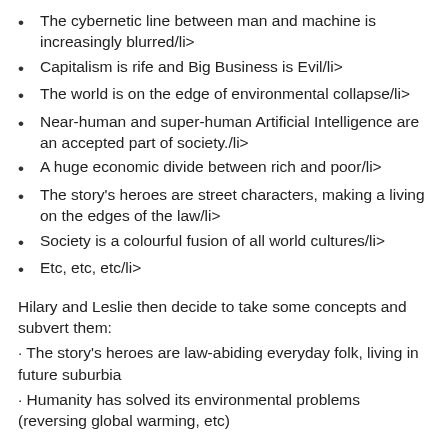The cybernetic line between man and machine is increasingly blurred/li>
Capitalism is rife and Big Business is Evil/li>
The world is on the edge of environmental collapse/li>
Near-human and super-human Artificial Intelligence are an accepted part of society./li>
A huge economic divide between rich and poor/li>
The story's heroes are street characters, making a living on the edges of the law/li>
Society is a colourful fusion of all world cultures/li>
Etc, etc, etc/li>
Hilary and Leslie then decide to take some concepts and subvert them:
· The story's heroes are law-abiding everyday folk, living in future suburbia
· Humanity has solved its environmental problems (reversing global warming, etc)